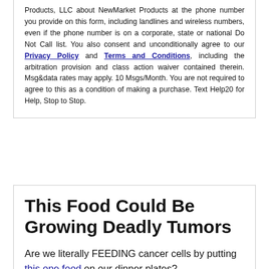Products, LLC about NewMarket Products at the phone number you provide on this form, including landlines and wireless numbers, even if the phone number is on a corporate, state or national Do Not Call list. You also consent and unconditionally agree to our Privacy Policy and Terms and Conditions, including the arbitration provision and class action waiver contained therein. Msg&data rates may apply. 10 Msgs/Month. You are not required to agree to this as a condition of making a purchase. Text Help20 for Help, Stop to Stop.
This Food Could Be Growing Deadly Tumors
Are we literally FEEDING cancer cells by putting this one food on our dinner plates?
This is important. THIS one food could be growing cancer cells.
And here's where it gets interesting... as soon as